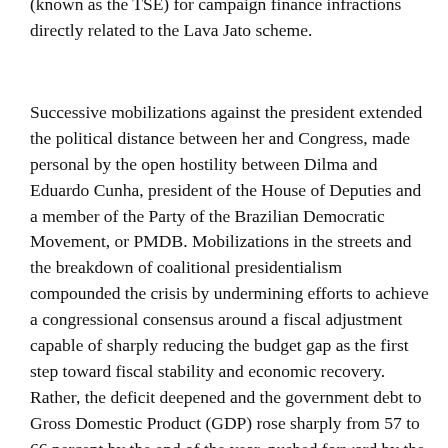(known as the TSE) for campaign finance infractions directly related to the Lava Jato scheme.
Successive mobilizations against the president extended the political distance between her and Congress, made personal by the open hostility between Dilma and Eduardo Cunha, president of the House of Deputies and a member of the Party of the Brazilian Democratic Movement, or PMDB. Mobilizations in the streets and the breakdown of coalitional presidentialism compounded the crisis by undermining efforts to achieve a congressional consensus around a fiscal adjustment capable of sharply reducing the budget gap as the first step toward fiscal stability and economic recovery. Rather, the deficit deepened and the government debt to Gross Domestic Product (GDP) rose sharply from 57 to 66 percent by the end of the year, pushed forward by the currency's rapid devaluation and rising interest rates. The resignation of Finance Minister Joachim Levy at the end of 2015